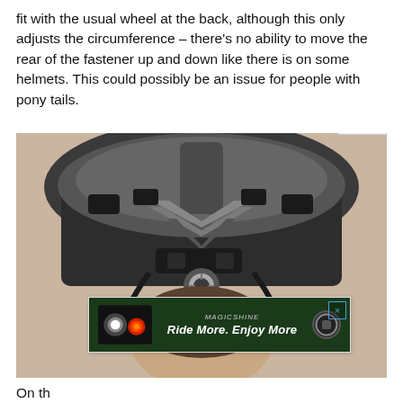fit with the usual wheel at the back, although this only adjusts the circumference – there's no ability to move the rear of the fastener up and down like there is on some helmets. This could possibly be an issue for people with pony tails.
[Figure (photo): Rear view of a person wearing a dark cycling helmet, showing the back of the helmet with a retention system dial/knob in the center and strap system. An advertisement overlay for Magicshine 'Ride More. Enjoy More' is shown in the lower right corner with a close button.]
On th